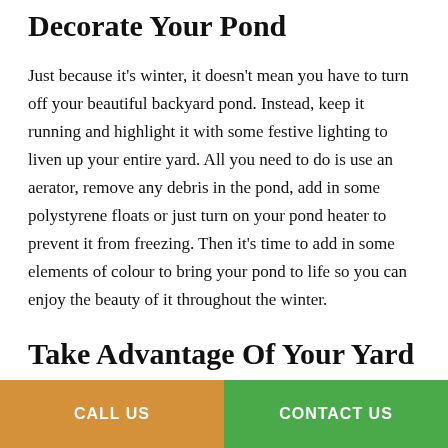Decorate Your Pond
Just because it’s winter, it doesn’t mean you have to turn off your beautiful backyard pond. Instead, keep it running and highlight it with some festive lighting to liven up your entire yard. All you need to do is use an aerator, remove any debris in the pond, add in some polystyrene floats or just turn on your pond heater to prevent it from freezing. Then it’s time to add in some elements of colour to bring your pond to life so you can enjoy the beauty of it throughout the winter.
Take Advantage Of Your Yard
Making the most of your land this Christmas doesn’t mean creating something out of National Lampoon’s Christmas Vacation. But of course, adding some yard decorations to spruce up your property for Christmas is always fun. But don’t forget to take care of the lawn if you plan on adding some reindeer or an LED snowman to the yard. The lawn can’t handle a lot of heavy weight or foot traffic can end up damaging it, leaving you
CALL US    CONTACT US